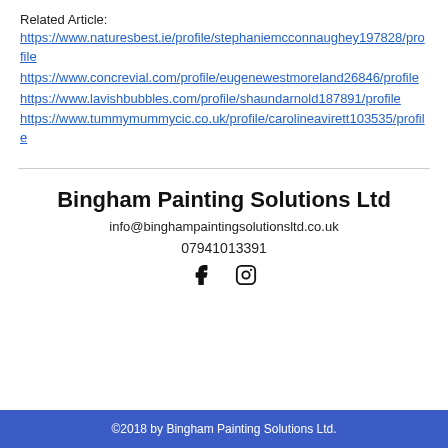Related Article:
https://www.naturesbest.ie/profile/stephaniemcconnaughey197828/profile
https://www.concrevial.com/profile/eugenewestmoreland26846/profile
https://www.lavishbubbles.com/profile/shaundarnold187891/profile
https://www.tummymummycic.co.uk/profile/carolineavirett103535/profile
Bingham Painting Solutions Ltd
info@binghampaintingsolutionsltd.co.uk
07941013391
[Figure (illustration): Social media icons: Facebook (f) and Instagram (camera)]
©2018 by Bingham Painting Solutions Ltd.